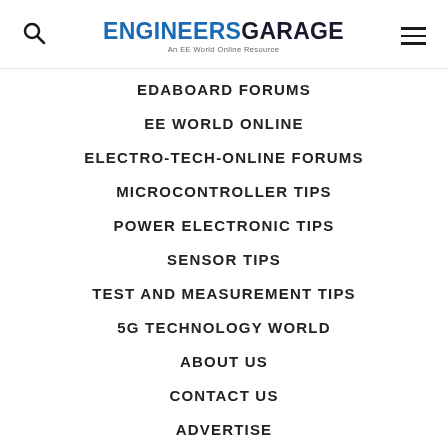[Figure (logo): EngineersGarage logo - An EE World Online Resource]
EDABOARD FORUMS
EE WORLD ONLINE
ELECTRO-TECH-ONLINE FORUMS
MICROCONTROLLER TIPS
POWER ELECTRONIC TIPS
SENSOR TIPS
TEST AND MEASUREMENT TIPS
5G TECHNOLOGY WORLD
ABOUT US
CONTACT US
ADVERTISE